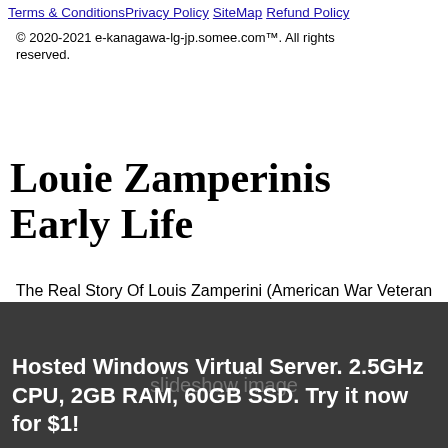Terms & Conditions  Privacy Policy  SiteMap  Refund Policy
© 2020-2021 e-kanagawa-lg-jp.somee.com™. All rights reserved.
Louie Zamperinis Early Life
The Real Story Of Louis Zamperini (American War Veteran \u0026 Olympic Runner) - Our History
[Figure (photo): Dark/black background image area, partially obscured, taking up the lower portion of the page]
Hosted Windows Virtual Server. 2.5GHz CPU, 2GB RAM, 60GB SSD. Try it now for $1!